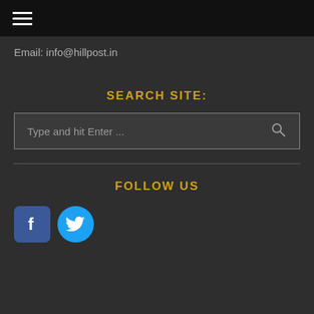☰ (hamburger menu)
Email: info@hillpost.in
SEARCH SITE:
Type and hit Enter ...
FOLLOW US
[Figure (logo): Facebook icon - blue square with white 'f' letter]
[Figure (logo): Twitter icon - teal circle with white bird logo]